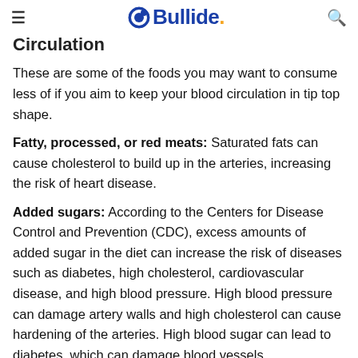Bullide.
Circulation
These are some of the foods you may want to consume less of if you aim to keep your blood circulation in tip top shape.
Fatty, processed, or red meats: Saturated fats can cause cholesterol to build up in the arteries, increasing the risk of heart disease.
Added sugars: According to the Centers for Disease Control and Prevention (CDC), excess amounts of added sugar in the diet can increase the risk of diseases such as diabetes, high cholesterol, cardiovascular disease, and high blood pressure. High blood pressure can damage artery walls and high cholesterol can cause hardening of the arteries. High blood sugar can lead to diabetes, which can damage blood vessels